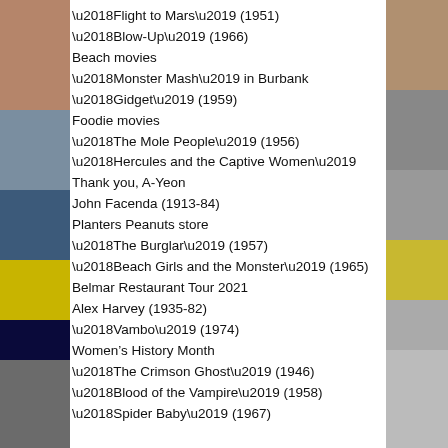‘Flight to Mars’ (1951)
‘Blow-Up’ (1966)
Beach movies
‘Monster Mash’ in Burbank
‘Gidget’ (1959)
Foodie movies
‘The Mole People’ (1956)
‘Hercules and the Captive Women’
Thank you, A-Yeon
John Facenda (1913-84)
Planters Peanuts store
‘The Burglar’ (1957)
‘Beach Girls and the Monster’ (1965)
Belmar Restaurant Tour 2021
Alex Harvey (1935-82)
‘Vambo’ (1974)
Women’s History Month
‘The Crimson Ghost’ (1946)
‘Blood of the Vampire’ (1958)
‘Spider Baby’ (1967)